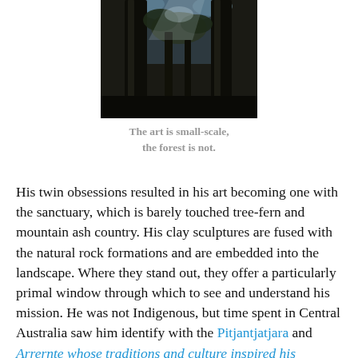[Figure (photo): Photograph taken looking up through tall dark tree trunks in a dense forest, with light filtering through the canopy above.]
The art is small-scale,
the forest is not.
His twin obsessions resulted in his art becoming one with the sanctuary, which is barely touched tree-fern and mountain ash country. His clay sculptures are fused with the natural rock formations and are embedded into the landscape. Where they stand out, they offer a particularly primal window through which to see and understand his mission. He was not Indigenous, but time spent in Central Australia saw him identify with the Pitjantjatjara and Arrernte whose traditions and culture inspired his